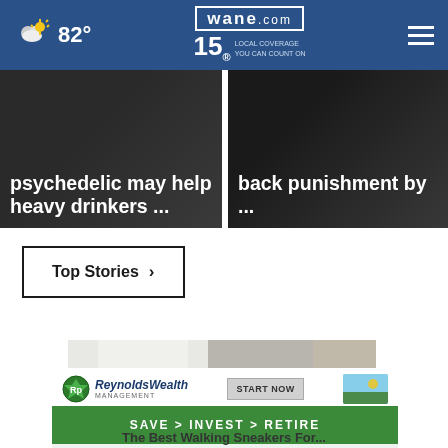wane.com 15 LOCAL COVERAGE YOU CAN COUNT ON | 82°
psychedelic may help heavy drinkers ...
back punishment by ...
Top Stories ›
[Figure (photo): Close-up of person wearing white pants and white perforated sneakers with tan/gold stripe on sole, walking on dark pavement]
[Figure (other): Reynolds Wealth Management advertisement: START NOW | SAVE > INVEST > RETIRE]
The Best Walking Sneakers For...